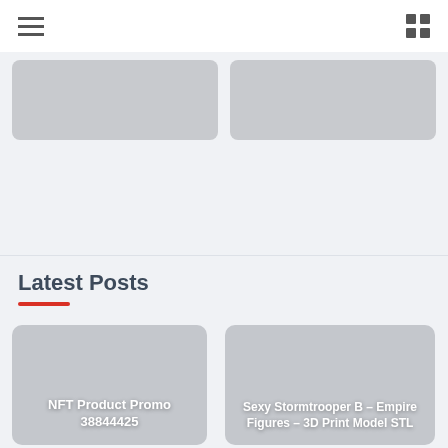[Figure (other): Two gray card placeholders at the top of the page]
Latest Posts
[Figure (other): Post card with title: NFT Product Promo 38844425]
[Figure (other): Post card with title: Sexy Stormtrooper B – Empire Figures – 3D Print Model STL]